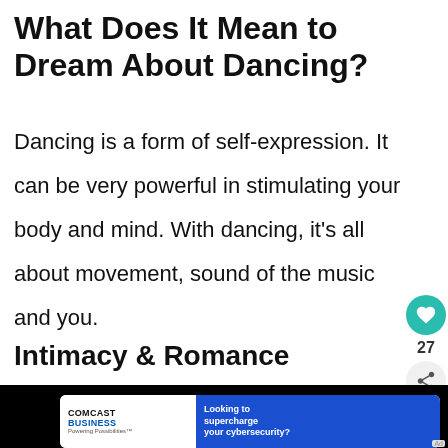What Does It Mean to Dream About Dancing?
Dancing is a form of self-expression. It can be very powerful in stimulating your body and mind. With dancing, it's all about movement, sound of the music and you.
Intimacy & Romance
[Figure (screenshot): Advertisement banner for Comcast Business cybersecurity services, with a red bow decoration on a black background.]